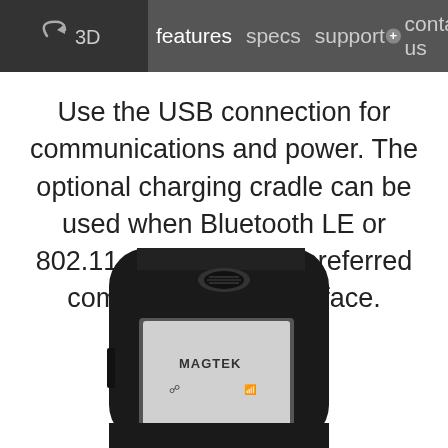3D  features  specs  support  +contact us
Use the USB connection for communications and power. The optional charging cradle can be used when Bluetooth LE or 802.11 wireless is the preferred communications interface.
[Figure (photo): Photo of a MagTek card reader device shown from the back, black rounded rectangular housing with a logo button on top and a display screen with USB symbol visible, tilted slightly]